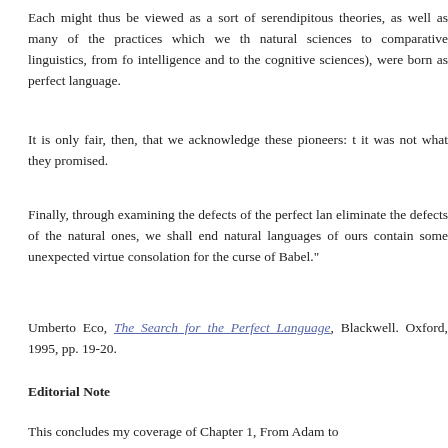Each might thus be viewed as a sort of serendipitous theories, as well as many of the practices which we th natural sciences to comparative linguistics, from fo intelligence and to the cognitive sciences), were born as perfect language.
It is only fair, then, that we acknowledge these pioneers: t it was not what they promised.
Finally, through examining the defects of the perfect lan eliminate the defects of the natural ones, we shall end natural languages of ours contain some unexpected virtue consolation for the curse of Babel."
Umberto Eco, The Search for the Perfect Language, Blackwell. Oxford, 1995, pp. 19-20.
Editorial Note
This concludes my coverage of Chapter 1, From Adam to